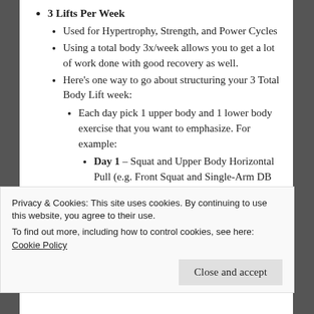3 Lifts Per Week
Used for Hypertrophy, Strength, and Power Cycles
Using a total body 3x/week allows you to get a lot of work done with good recovery as well.
Here's one way to go about structuring your 3 Total Body Lift week:
Each day pick 1 upper body and 1 lower body exercise that you want to emphasize. For example:
Day 1 – Squat and Upper Body Horizontal Pull (e.g. Front Squat and Single-Arm DB Row)
Day 2 – Glute/Hamstring  and
Privacy & Cookies: This site uses cookies. By continuing to use this website, you agree to their use.
To find out more, including how to control cookies, see here: Cookie Policy